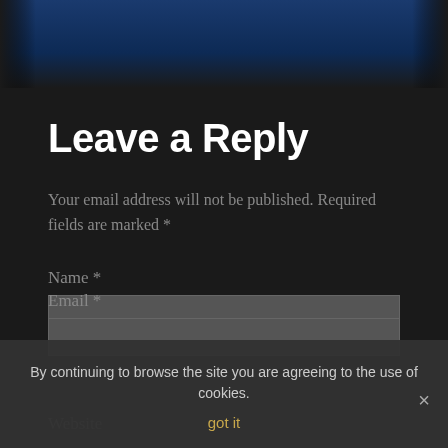[Figure (illustration): Dark blue gradient image at the top of the page]
Leave a Reply
Your email address will not be published. Required fields are marked *
Name *
Email *
Website
By continuing to browse the site you are agreeing to the use of cookies.
got it